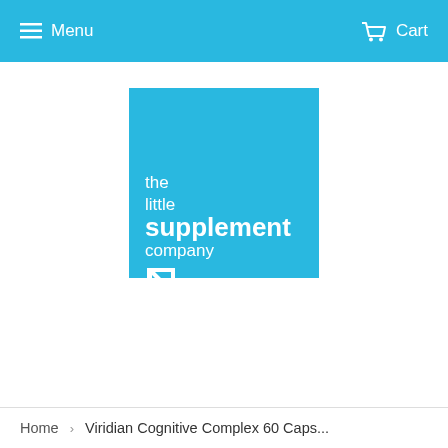Menu   Cart
[Figure (logo): The Little Supplement Company logo — cyan/sky-blue square with white text reading 'the little supplement company' and a white arrow icon pointing upper-right]
Home  ›  Viridian Cognitive Complex 60 Caps...